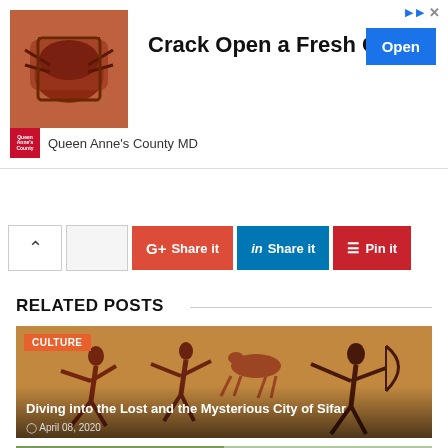[Figure (photo): Advertisement banner: crab/seafood image on left, text 'Crack Open a Fresh One' with blue Open button, Queen Anne's County MD logo and text below]
[Figure (infographic): Social share buttons row: up arrow button, Google+ Share it (red), LinkedIn Share it (blue), Pinterest Pin it (dark red)]
RELATED POSTS
[Figure (photo): Related post card: Cave painting / prehistoric art image showing figures hunting with bows, CULTURE badge, title 'Diving into the Lost and the Mysterious City of Sifar', date April 08, 2020]
Diving into the Lost and the Mysterious City of Sifar
April 08, 2020
[Figure (photo): Second related post card partially visible: CULTURE badge, people image]